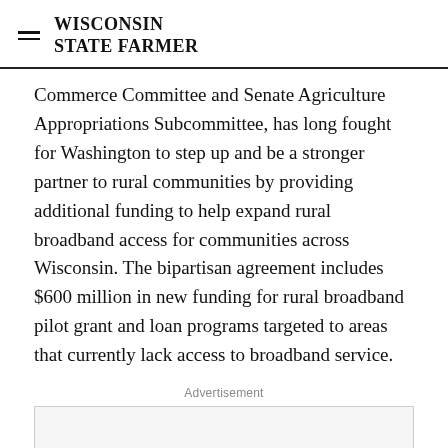WISCONSIN STATE FARMER
Commerce Committee and Senate Agriculture Appropriations Subcommittee, has long fought for Washington to step up and be a stronger partner to rural communities by providing additional funding to help expand rural broadband access for communities across Wisconsin. The bipartisan agreement includes $600 million in new funding for rural broadband pilot grant and loan programs targeted to areas that currently lack access to broadband service.
Advertisement
[Figure (other): Advertisement placeholder box (empty grey rectangle)]